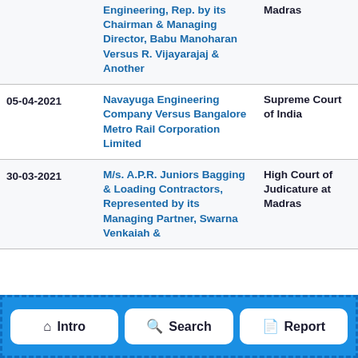| Date | Case | Court |
| --- | --- | --- |
|  | Engineering, Rep. by its Chairman & Managing Director, Babu Manoharan Versus R. Vijayarajaj & Another | Madras |
| 05-04-2021 | Navayuga Engineering Company Versus Bangalore Metro Rail Corporation Limited | Supreme Court of India |
| 30-03-2021 | M/s. A.P.R. Juniors Bagging & Loading Contractors, Represented by its Managing Partner, Swarna Venkaiah & | High Court of Judicature at Madras |
Intro | Search | Report